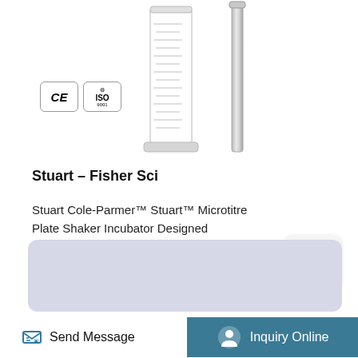[Figure (photo): Laboratory cylinders/tubes, one glass graduated cylinder and one metal rod/probe, with CE and ISO certification badges in the lower left]
Stuart – Fisher Sci
Stuart Cole-Parmer™ Stuart™ Microtitre Plate Shaker Incubator Designed specifically to combine a bench top laboratory incubator wi the specific ...
[Figure (other): TOP scroll-to-top button with upward chevron arrow]
More Details
[Figure (other): Light blue-grey panel section]
Send Message   Inquiry Online